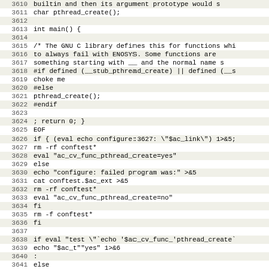Code listing lines 3610-3642, showing shell script / C code for pthread_create configuration test